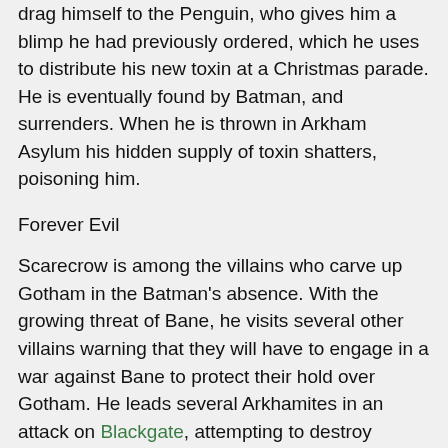drag himself to the Penguin, who gives him a blimp he had previously ordered, which he uses to distribute his new toxin at a Christmas parade. He is eventually found by Batman, and surrenders. When he is thrown in Arkham Asylum his hidden supply of toxin shatters, poisoning him.
Forever Evil
Scarecrow is among the villains who carve up Gotham in the Batman's absence. With the growing threat of Bane, he visits several other villains warning that they will have to engage in a war against Bane to protect their hold over Gotham. He leads several Arkhamites in an attack on Blackgate, attempting to destroy Bane's newly acquired Talons. He succeeds in orchestrating the removal of all but one of the Talons, but is attacked by Bane. He is rescued by Killer Croc. Later, he and Mr Freeze succeed in awakening the Talons. He doses several other villains with a small amount of Bane's Venom, which he acquired when